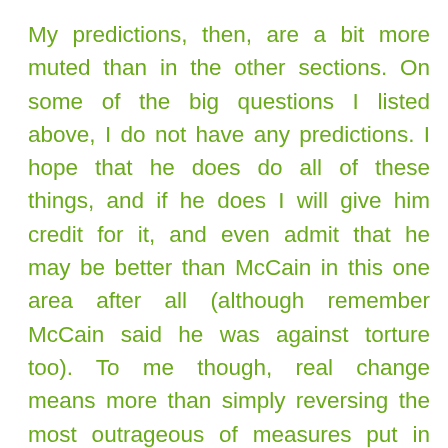My predictions, then, are a bit more muted than in the other sections. On some of the big questions I listed above, I do not have any predictions. I hope that he does do all of these things, and if he does I will give him credit for it, and even admit that he may be better than McCain in this one area after all (although remember McCain said he was against torture too). To me though, real change means more than simply reversing the most outrageous of measures put in place by the previous administration. However if under